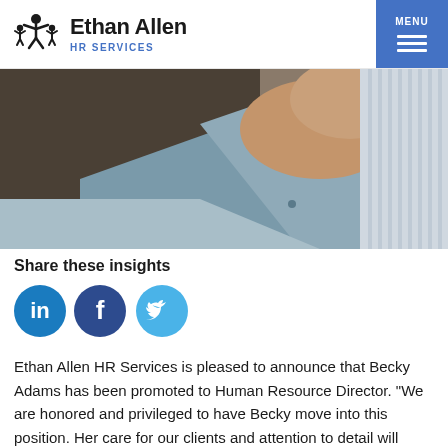[Figure (logo): Ethan Allen HR Services logo with stick figure icon and company name]
[Figure (photo): Close-up photo of a person's torso in a blue/grey blazer with striped shirt, professional business attire]
Share these insights
[Figure (infographic): Three social media share buttons: LinkedIn (teal circle with 'in'), Facebook (dark blue circle with 'f'), Twitter (light blue circle with bird icon)]
Ethan Allen HR Services is pleased to announce that Becky Adams has been promoted to Human Resource Director. “We are honored and privileged to have Becky move into this position. Her care for our clients and attention to detail will provide our